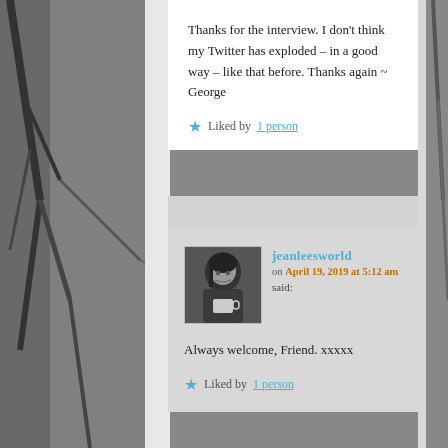Thanks for the interview. I don't think my Twitter has exploded – in a good way – like that before. Thanks again ~ George
Liked by 1 person
jeanleesworld on April 19, 2019 at 5:12 am said:
Always welcome, Friend. xxxxx
Liked by 1 person